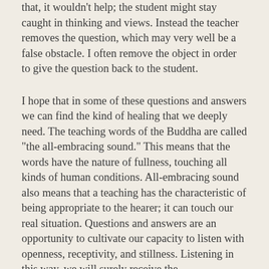that, it wouldn't help; the student might stay caught in thinking and views. Instead the teacher removes the question, which may very well be a false obstacle. I often remove the object in order to give the question back to the student.
I hope that in some of these questions and answers we can find the kind of healing that we deeply need. The teaching words of the Buddha are called "the all-embracing sound." This means that the words have the nature of fullness, touching all kinds of human conditions. All-embracing sound also means that a teaching has the characteristic of being appropriate to the hearer; it can touch our real situation. Questions and answers are an opportunity to cultivate our capacity to listen with openness, receptivity, and stillness. Listening in this way, we will surely receive the